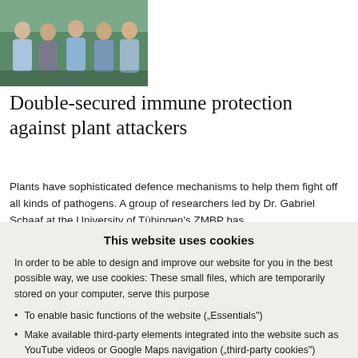[Figure (photo): Group photo of several researchers (men) standing outdoors, partial view showing upper bodies]
Double-secured immune protection against plant attackers
Plants have sophisticated defence mechanisms to help them fight off all kinds of pathogens. A group of researchers led by Dr. Gabriel Schaaf at the University of Tübingen's ZMBP has
This website uses cookies
In order to be able to design and improve our website for you in the best possible way, we use cookies: These small files, which are temporarily stored on your computer, serve this purpose
To enable basic functions of the website („Essentials")
Make available third-party elements integrated into the website such as YouTube videos or Google Maps navigation („third-party cookies")
To operate statistical and tracking tools to understand how site visitors use the site and to implement